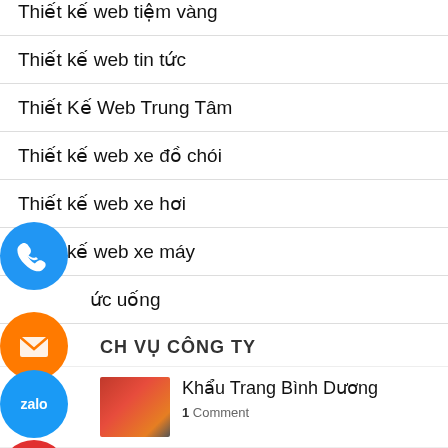Thiết kế web tiệm vàng
Thiết kế web tin tức
Thiết Kế Web Trung Tâm
Thiết kế web xe đồ chói
Thiết kế web xe hơi
Thiết kế web xe máy
ức uống
CH VỤ CÔNG TY
Khẩu Trang Bình Dương
1 Comment
10 Lý Do Kinh Doanh Cần Phải Có Website
1 Comment